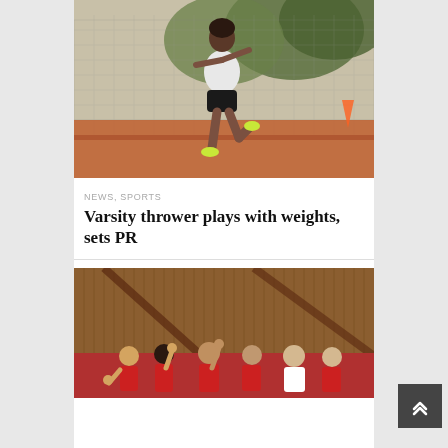[Figure (photo): Female athlete in white jersey running or throwing on a track field with a fence and trees in the background]
NEWS, SPORTS
Varsity thrower plays with weights, sets PR
[Figure (photo): Basketball team huddle inside a gym with wooden panel walls, players in red and white uniforms raising fists]